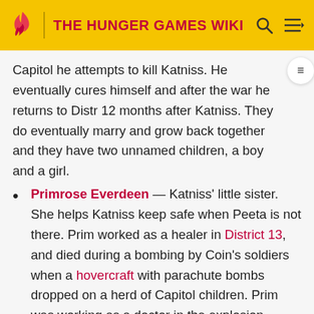THE HUNGER GAMES WIKI
Capitol he attempts to kill Katniss. He eventually cures himself and after the war he returns to Distr 12 months after Katniss. They do eventually marry and grow back together and they have two unnamed children, a boy and a girl.
Primrose Everdeen — Katniss' little sister. She helps Katniss keep safe when Peeta is not there. Prim worked as a healer in District 13, and died during a bombing by Coin's soldiers when a hovercraft with parachute bombs dropped on a herd of Capitol children. Prim was working as a doctor in the explosion.
Gale Hawthorne — Katniss' best friend and hunting partner. He is in love with Katniss, but eventually